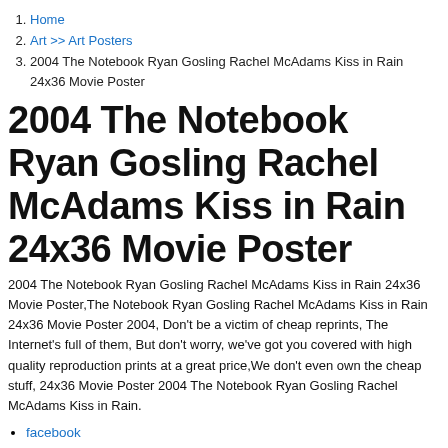1. Home
2. Art >> Art Posters
3. 2004 The Notebook Ryan Gosling Rachel McAdams Kiss in Rain 24x36 Movie Poster
2004 The Notebook Ryan Gosling Rachel McAdams Kiss in Rain 24x36 Movie Poster
2004 The Notebook Ryan Gosling Rachel McAdams Kiss in Rain 24x36 Movie Poster,The Notebook Ryan Gosling Rachel McAdams Kiss in Rain 24x36 Movie Poster 2004, Don't be a victim of cheap reprints, The Internet's full of them, But don't worry, we've got you covered with high quality reproduction prints at a great price,We don't even own the cheap stuff, 24x36 Movie Poster 2004 The Notebook Ryan Gosling Rachel McAdams Kiss in Rain.
facebook
twitter